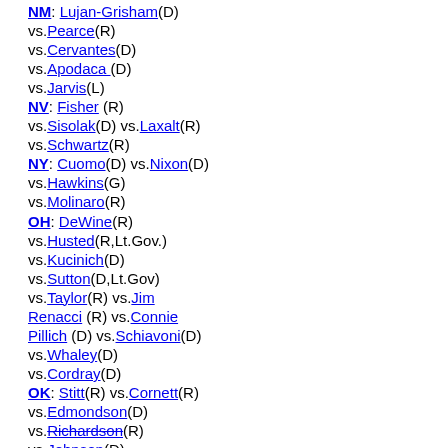NM: Lujan-Grisham(D) vs.Pearce(R) vs.Cervantes(D) vs.Apodaca (D) vs.Jarvis(L) NV: Fisher (R) vs.Sisolak(D) vs.Laxalt(R) vs.Schwartz(R) NY: Cuomo(D) vs.Nixon(D) vs.Hawkins(G) vs.Molinaro(R) OH: DeWine(R) vs.Husted(R,Lt.Gov.) vs.Kucinich(D) vs.Sutton(D,Lt.Gov) vs.Taylor(R) vs.Jim Renacci (R) vs.Connie Pillich (D) vs.Schiavoni(D) vs.Whaley(D) vs.Cordray(D) OK: Stitt(R) vs.Cornett(R) vs.Edmondson(D) vs.Richardson(R) vs.Johnson(D) vs.Powell(L) vs.Maldonado(L) OR: Brown(D) vs.Scott Inman(D) vs.Buehler(R) PA: Wolf(D) vs.Fetterman(D,Lt.Gov.)